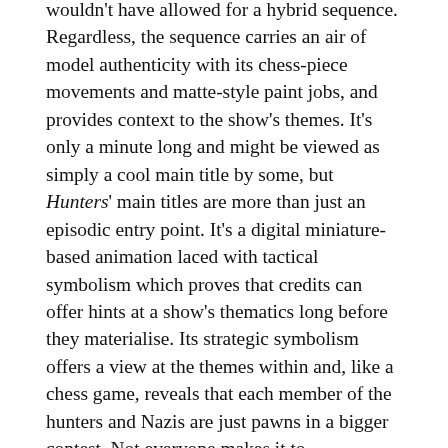wouldn't have allowed for a hybrid sequence. Regardless, the sequence carries an air of model authenticity with its chess-piece movements and matte-style paint jobs, and provides context to the show's themes. It's only a minute long and might be viewed as simply a cool main title by some, but Hunters' main titles are more than just an episodic entry point. It's a digital miniature-based animation laced with tactical symbolism which proves that credits can offer hints at a show's thematics long before they materialise. Its strategic symbolism offers a view at the themes within and, like a chess game, reveals that each member of the hunters and Nazis are just pawns in a bigger contest. Not everyone makes it to